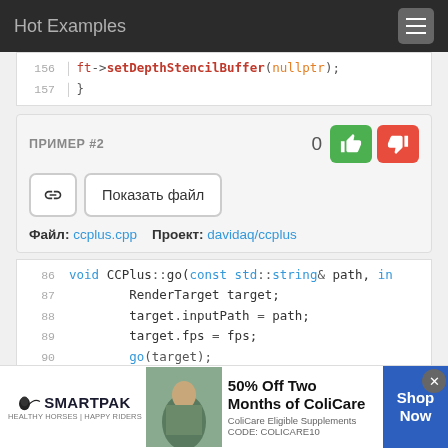Hot Examples
156   ft->setDepthStencilBuffer(nullptr);
157   }
ПРИМЕР #2
Показать файл
Файл: ccplus.cpp   Проект: davidaq/ccplus
86   void CCPlus::go(const std::string& path, in
87       RenderTarget target;
88       target.inputPath = path;
89       target.fps = fps;
90       go(target);